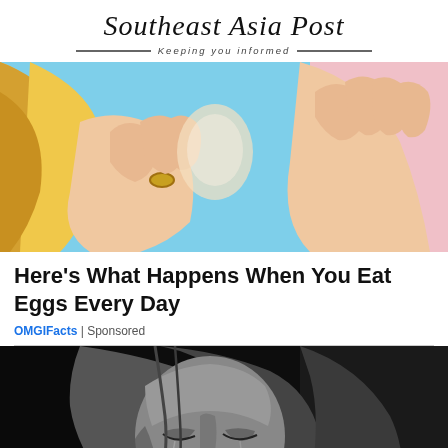Southeast Asia Post — Keeping you informed
[Figure (illustration): Colorful illustrated image showing hands with a ring and blonde hair on a blue background]
Here's What Happens When You Eat Eggs Every Day
OMGIFacts | Sponsored
[Figure (photo): Black and white photo of a woman crying with eyes closed, head tilted down, hair falling around face]